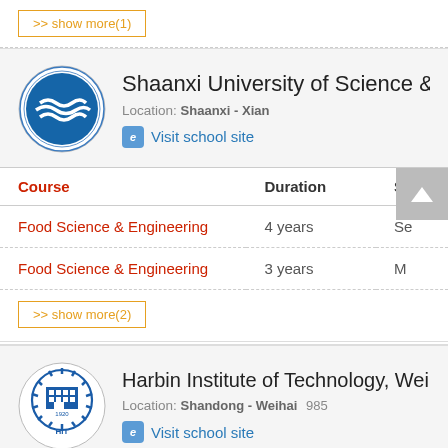>> show more(1)
Shaanxi University of Science & Technology
Location: Shaanxi - Xian
Visit school site
| Course | Duration | St... |
| --- | --- | --- |
| Food Science & Engineering | 4 years | Se |
| Food Science & Engineering | 3 years | M |
>> show more(2)
Harbin Institute of Technology, Weihai
Location: Shandong - Weihai  985
Visit school site